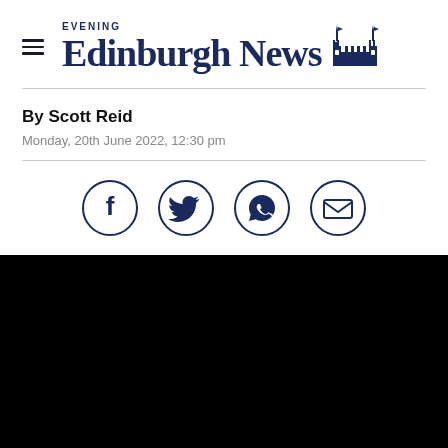Edinburgh Evening News
By Scott Reid
Monday, 20th June 2022, 12:30 pm
[Figure (infographic): Social sharing icons: Facebook, Twitter, WhatsApp, Email — each in a dark navy circle outline]
[Figure (photo): Black image/video placeholder]